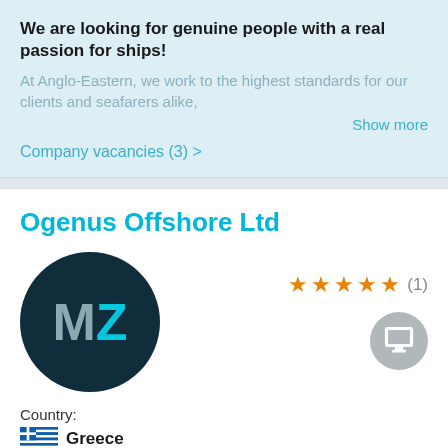We are looking for genuine people with a real passion for ships!
At Anglo-Eastern, we work to the highest standards for our clients and seafarers alike,
Show more
Company vacancies (3) >
Ogenus Offshore Ltd
[Figure (logo): Circular dark teal logo with letters MZ in grey and cyan, with 5 orange stars rating (1) and a grey monitor icon]
Country:
Greece
Company vacancies (0) >